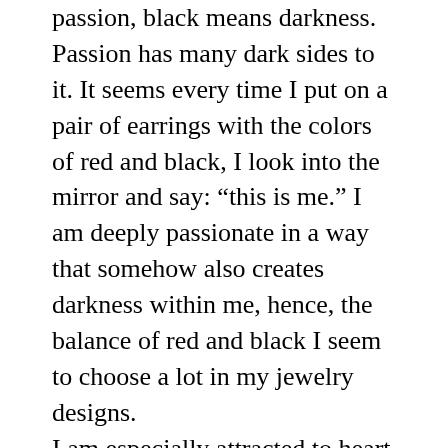passion, black means darkness. Passion has many dark sides to it. It seems every time I put on a pair of earrings with the colors of red and black, I look into the mirror and say: “this is me.” I am deeply passionate in a way that somehow also creates darkness within me, hence, the balance of red and black I seem to choose a lot in my jewelry designs. I am especially attracted to heart charms which also indicates a deep love for romance and passion. I make jewelry to wear, to give as gifts and to sell (these are all parts of my story refected in artistic jewelry making). As I wear pieces I create and other jewelry artist create I continue telling my story ever so quietly and subtle. And it is exactly those expressions that